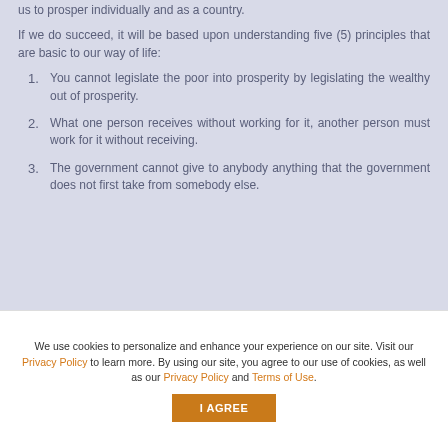us to prosper individually and as a country.
If we do succeed, it will be based upon understanding five (5) principles that are basic to our way of life:
1. You cannot legislate the poor into prosperity by legislating the wealthy out of prosperity.
2. What one person receives without working for it, another person must work for it without receiving.
3. The government cannot give to anybody anything that the government does not first take from somebody else.
We use cookies to personalize and enhance your experience on our site. Visit our Privacy Policy to learn more. By using our site, you agree to our use of cookies, as well as our Privacy Policy and Terms of Use.